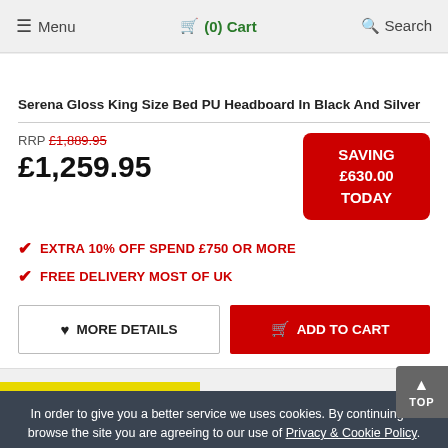Menu  (0) Cart  Search
Serena Gloss King Size Bed PU Headboard In Black And Silver
RRP £1,889.95
£1,259.95
SAVING £630.00 TODAY
✔ EXTRA 10% OFF SPEND £750 OR MORE
✔ FREE DELIVERY MOST OF UK
♥ MORE DETAILS   🛒 ADD TO CART
In order to give you a better service we uses cookies. By continuing to browse the site you are agreeing to our use of Privacy & Cookie Policy.
I Agree  X